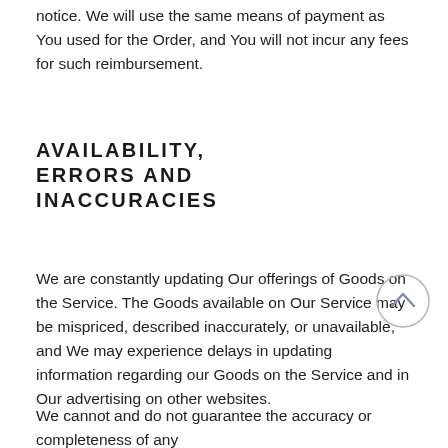notice. We will use the same means of payment as You used for the Order, and You will not incur any fees for such reimbursement.
AVAILABILITY, ERRORS AND INACCURACIES
We are constantly updating Our offerings of Goods on the Service. The Goods available on Our Service may be mispriced, described inaccurately, or unavailable, and We may experience delays in updating information regarding our Goods on the Service and in Our advertising on other websites.
We cannot and do not guarantee the accuracy or completeness of any